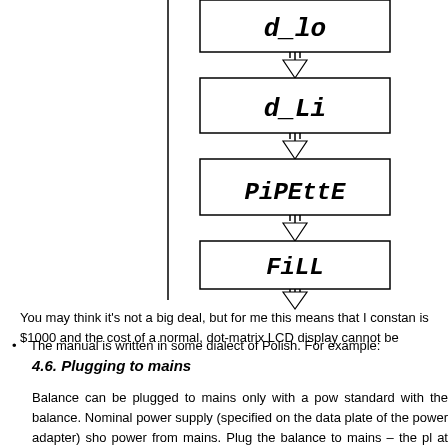[Figure (flowchart): Flowchart showing sequence of LCD display states: d_Lo -> d_Li -> PiPEttE -> FiLL, with arrow continuing downward]
You may think it's not a big deal, but for me this means that I constantly is $1000 and the cost of a normal, dot-matrix LCD display cannot be
The manual is written in some dialect of Polish. For example:
4.6. Plugging to mains
Balance can be plugged to mains only with a power standard with the balance. Nominal power supply (specified on the data plate of the power adapter) shou power from mains. Plug the balance to mains – the plu at the back of balance's housing. Balance display will li number of software, after which balance will display